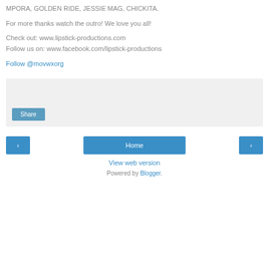MPORA, GOLDEN RIDE, JESSIE MAG, CHICKITA.
For more thanks watch the outro! We love you all!
Check out: www.lipstick-productions.com
Follow us on: www.facebook.com/lipstick-productions
Follow @movwxorg
[Figure (other): Share button widget area with grey background and a teal Share button]
< Home >
View web version
Powered by Blogger.